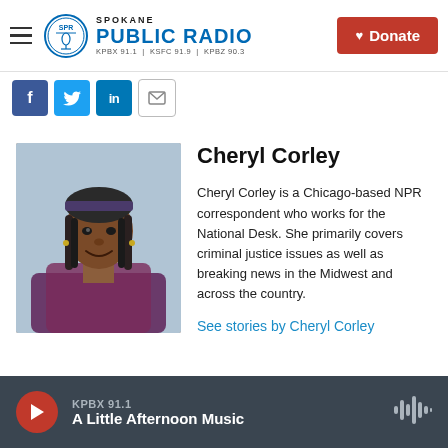Spokane Public Radio — KPBX 91.1 | KSFC 91.9 | KPBZ 90.3 — Donate
[Figure (screenshot): Social sharing icons: Facebook, Twitter, LinkedIn, Email]
[Figure (photo): Headshot of Cheryl Corley, a woman with long braids and a headband, smiling, wearing a purple patterned top]
Cheryl Corley
Cheryl Corley is a Chicago-based NPR correspondent who works for the National Desk. She primarily covers criminal justice issues as well as breaking news in the Midwest and across the country.
See stories by Cheryl Corley
KPBX 91.1 — A Little Afternoon Music